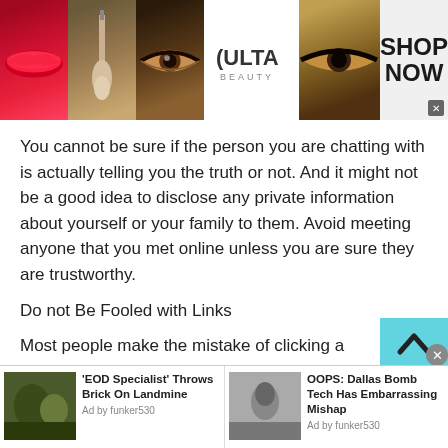[Figure (photo): Ulta Beauty banner advertisement showing makeup images: lips, makeup brush, eye with eyeshadow, Ulta Beauty logo, dramatic eye makeup, and SHOP NOW text with close button]
You cannot be sure if the person you are chatting with is actually telling you the truth or not. And it might not be a good idea to disclose any private information about yourself or your family to them. Avoid meeting anyone that you met online unless you are sure they are trustworthy.
Do not Be Fooled with Links
Most people make the mistake of clicking a suspicious link
[Figure (infographic): Scroll-to-top button, teal/cyan colored with upward chevron arrow]
[Figure (photo): Bottom advertisement strip with two ad items: 'EOD Specialist' Throws Brick On Landmine (Ad by funker530) and OOPS: Dallas Bomb Tech Has Embarrassing Mishap (Ad by funker530), each with thumbnail photos and close button]